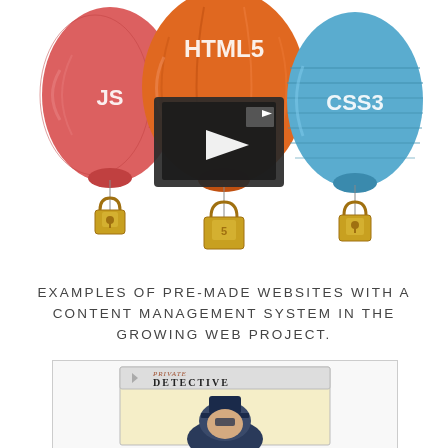[Figure (illustration): Three hot air balloons: red balloon labeled JS on left with a padlock, orange balloon labeled HTML5 in center with a video play icon overlay and a padlock (HTML5 shield), blue balloon labeled CSS3 on right with a padlock. Each balloon has a small golden padlock hanging beneath it.]
EXAMPLES OF PRE-MADE WEBSITES WITH A CONTENT MANAGEMENT SYSTEM IN THE GROWING WEB PROJECT.
[Figure (screenshot): A screenshot preview inside a bordered box showing a 'Private Detective' website template with a vintage detective illustration on a yellow background.]